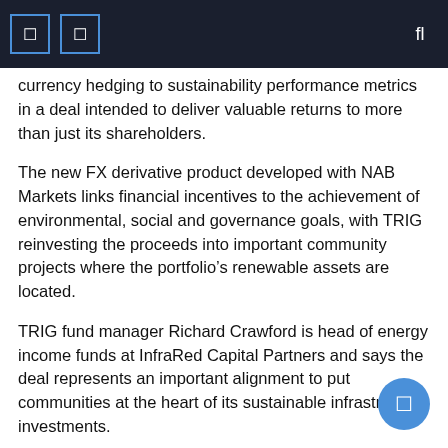Navigation header with icons
currency hedging to sustainability performance metrics in a deal intended to deliver valuable returns to more than just its shareholders.
The new FX derivative product developed with NAB Markets links financial incentives to the achievement of environmental, social and governance goals, with TRIG reinvesting the proceeds into important community projects where the portfolio’s renewable assets are located.
TRIG fund manager Richard Crawford is head of energy income funds at InfraRed Capital Partners and says the deal represents an important alignment to put communities at the heart of its sustainable infrastructure investments.
“Infrastructure assets can be very important within the communities in which we operate,” says Crawford. “It is